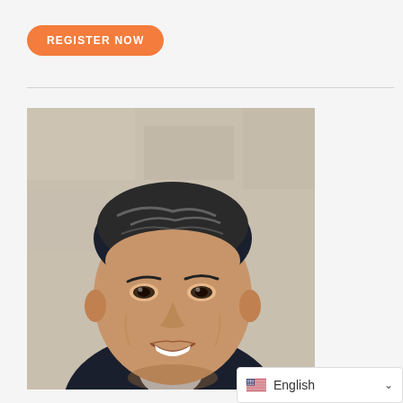REGISTER NOW
[Figure (photo): Headshot of a smiling Asian man with dark hair, wearing a dark blazer and light blue collared shirt, photographed outdoors against a stone wall background.]
English